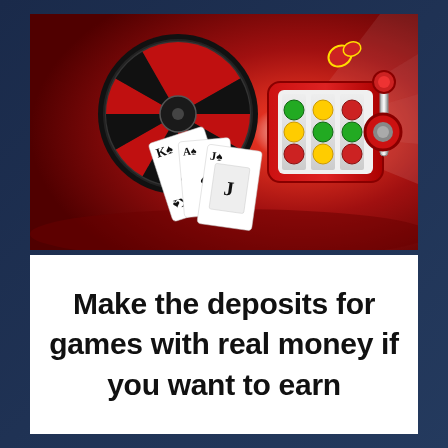[Figure (illustration): Casino themed illustration on a red background showing a roulette wheel, a slot machine with colorful symbols, playing cards (King of spades and Jack), and casino chips flying through the air.]
Make the deposits for games with real money if you want to earn